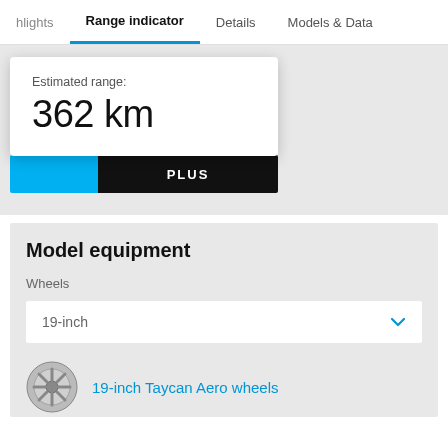highlights  Range indicator  Details  Models & Data
Estimated range:
362 km
PLUS
Model equipment
Wheels
19-inch
19-inch Taycan Aero wheels